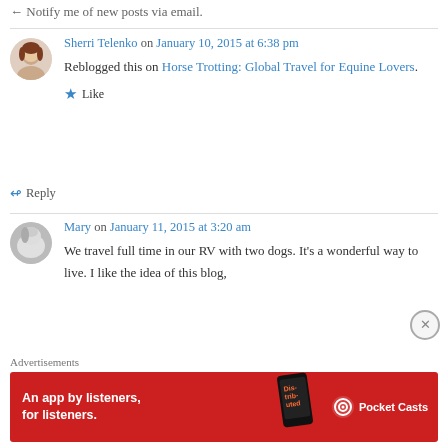← Notify me of new posts via email.
Sherri Telenko on January 10, 2015 at 6:38 pm
Reblogged this on Horse Trotting: Global Travel for Equine Lovers.
★ Like
↳ Reply
Mary on January 11, 2015 at 3:20 am
We travel full time in our RV with two dogs. It's a wonderful way to live. I like the idea of this blog,
Advertisements
[Figure (screenshot): Pocket Casts advertisement banner: red background, text 'An app by listeners, for listeners.' with phone graphic and Pocket Casts logo]